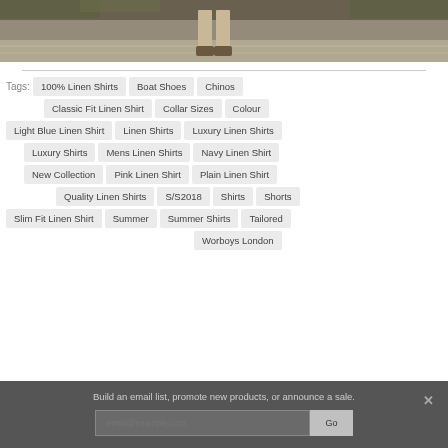[Figure (photo): A person standing, showing lower body with trousers and shoes, against a stone background]
Tags: 100% Linen Shirts, Boat Shoes, Chinos, Classic Fit Linen Shirt, Collar Sizes, Colour, Light Blue Linen Shirt, Linen Shirts, Luxury Linen Shirts, Luxury Shirts, Mens Linen Shirts, Navy Linen Shirt, New Collection, Pink Linen Shirt, Plain Linen Shirt, Quality Linen Shirts, S/S2018, Shirts, Shorts, Slim Fit Linen Shirt, Summer, Summer Shirts, Tailored, Worboys London
Build an email list, promote new products, or announce a sale.
email@example.com
Go